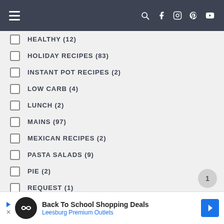Navigation bar with hamburger menu and social icons
HEALTHY (12)
HOLIDAY RECIPES (83)
INSTANT POT RECIPES (2)
LOW CARB (4)
LUNCH (2)
MAINS (97)
MEXICAN RECIPES (2)
PASTA SALADS (9)
PIE (2)
REQUEST (1)
SEAFOOD (18)
SEASONING & SPICES (1)
Back To School Shopping Deals Leesburg Premium Outlets